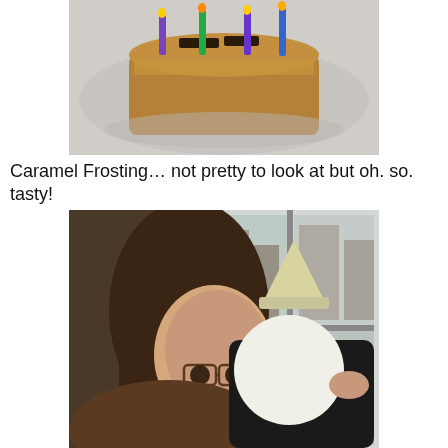[Figure (photo): A birthday cake with caramel frosting and colorful candles on a plate, viewed from above at an angle.]
Caramel Frosting… not pretty to look at but oh. so. tasty!
[Figure (photo): A young girl with long brown hair and glasses, smiling and hugging a large stuffed plush toy character (appears to be a ghost or panda-like figure with a pointed hat) near a window.]